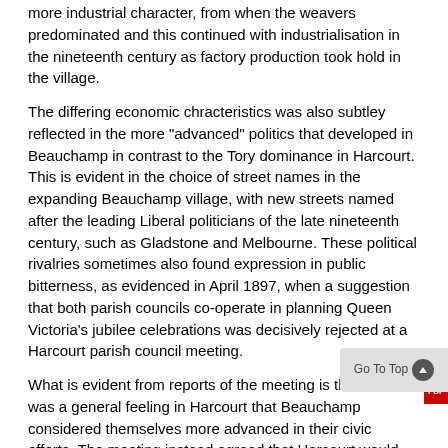more industrial character, from when the weavers predominated and this continued with industrialisation in the nineteenth century as factory production took hold in the village.
The differing economic chracteristics was also subtley reflected in the more "advanced" politics that developed in Beauchamp in contrast to the Tory dominance in Harcourt. This is evident in the choice of street names in the expanding Beauchamp village, with new streets named after the leading Liberal politicians of the late nineteenth century, such as Gladstone and Melbourne. These political rivalries sometimes also found expression in public bitterness, as evidenced in April 1897, when a suggestion that both parish councils co-operate in planning Queen Victoria's jubilee celebrations was decisively rejected at a Harcourt parish council meeting.
What is evident from reports of the meeting is that there was a general feeling in Harcourt that Beauchamp considered themselves more advanced in their civic efforts. The meeting instead agreed that Harcourt would build something permanent to mark the Queen's jubilee, with perhaps a village hall "emphatically asserting that Merton College, the lords of the manor, would have pleasure in giving the necessary ground."
Kibworth Harcourt Parish Meeting 1897.pdf